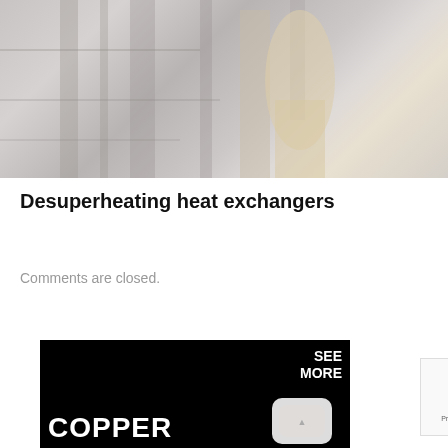[Figure (photo): Industrial heat exchanger equipment photograph, faded/washed out, showing pipes and mechanical components]
Desuperheating heat exchangers
Comments are closed.
[Figure (other): Delta Commercial advertisement with black background showing copper text and soap dispenser product, with SEE MORE call to action]